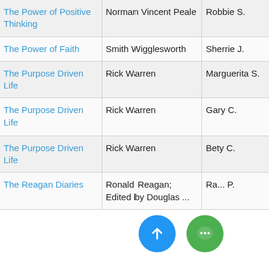| The Power of Positive Thinking | Norman Vincent Peale | Robbie S. |
| The Power of Faith | Smith Wigglesworth | Sherrie J. |
| The Purpose Driven Life | Rick Warren | Marguerita S. |
| The Purpose Driven Life | Rick Warren | Gary C. |
| The Purpose Driven Life | Rick Warren | Bety C. |
| The Reagan Diaries | Ronald Reagan; Edited by Douglas... | Ra... P. |